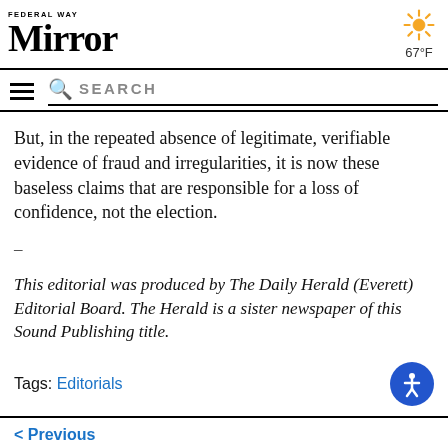Federal Way Mirror | 67°F
But, in the repeated absence of legitimate, verifiable evidence of fraud and irregularities, it is now these baseless claims that are responsible for a loss of confidence, not the election.
–
This editorial was produced by The Daily Herald (Everett) Editorial Board. The Herald is a sister newspaper of this Sound Publishing title.
Tags: Editorials
< Previous